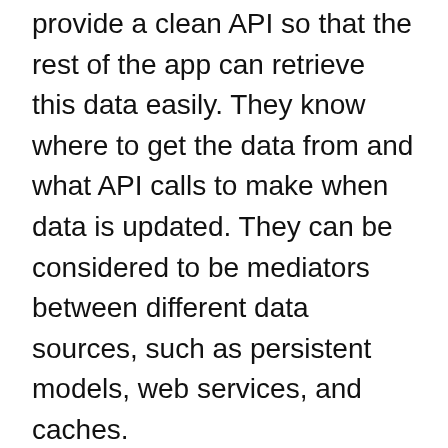provide a clean API so that the rest of the app can retrieve this data easily. They know where to get the data from and what API calls to make when data is updated. They can be considered to be mediators between different data sources, such as persistent models, web services, and caches.
[Figure (screenshot): Dark-themed code block showing Android Kotlin/Java import statements: import android.content.ContentValues, import android.util.Log, import androidx.lifecycle.LiveData, import com.example.android.politicalprepa... (x2), with a COPY button in the top-right corner. Lines are cut off at the bottom.]